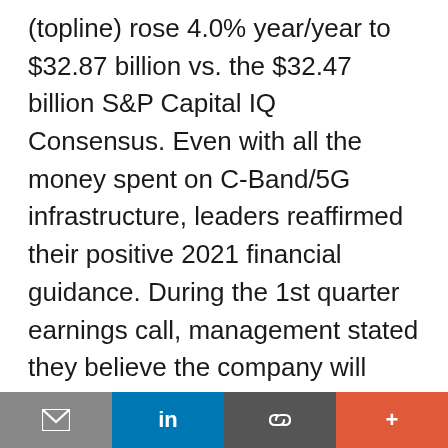(topline) rose 4.0% year/year to $32.87 billion vs. the $32.47 billion S&P Capital IQ Consensus. Even with all the money spent on C-Band/5G infrastructure, leaders reaffirmed their positive 2021 financial guidance. During the 1st quarter earnings call, management stated they believe the company will have an excellent 2nd quarter. AT&T and T-Mobile have been running free-phone promotions to keep and add customers; Verizon has been more measured in its offers. Subscriber growth can measure the difference in the phone promotions, where Verizon has lagged behind the pack. Verizon continues to
email | in | link | +